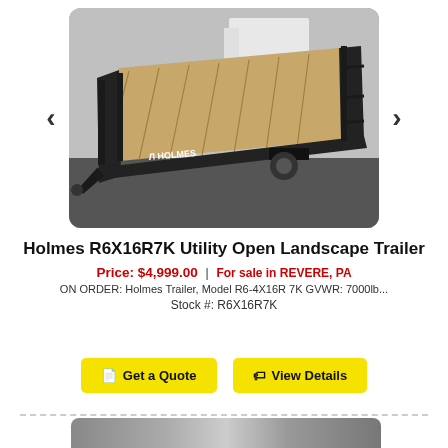[Figure (photo): Photo of a Holmes R6X16R7K utility open landscape trailer with wooden deck, black steel frame, Holmes branding, shown from a three-quarter angle outdoors. Navigation arrows on left and right.]
Holmes R6X16R7K Utility Open Landscape Trailer
Price: $4,999.00 | For sale in REVERE, PA
ON ORDER: Holmes Trailer, Model R6-4X16R 7K GVWR: 7000lb...
Stock #: R6X16R7K
Get a Quote
View Details
[Figure (photo): Partial view of another trailer listing photo at the bottom of the page (only top portion visible).]